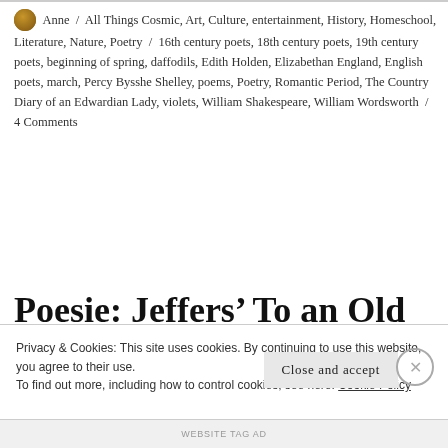Anne / All Things Cosmic, Art, Culture, entertainment, History, Homeschool, Literature, Nature, Poetry / 16th century poets, 18th century poets, 19th century poets, beginning of spring, daffodils, Edith Holden, Elizabethan England, English poets, march, Percy Bysshe Shelley, poems, Poetry, Romantic Period, The Country Diary of an Edwardian Lady, violets, William Shakespeare, William Wordsworth / 4 Comments
Poesie: Jeffers' To an Old Square Piano
Privacy & Cookies: This site uses cookies. By continuing to use this website, you agree to their use.
To find out more, including how to control cookies, see here: Cookie Policy